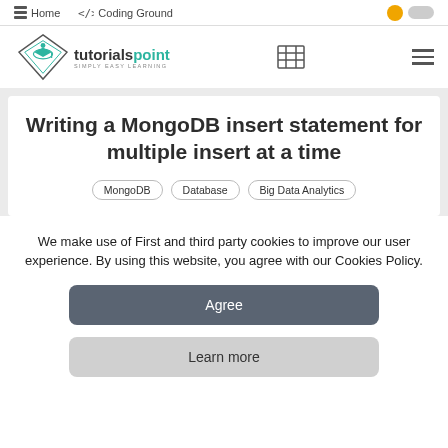Home   Coding Ground
[Figure (logo): Tutorialspoint logo - diamond shape with graduation cap, text 'tutorialspoint SIMPLY EASY LEARNING']
Writing a MongoDB insert statement for multiple insert at a time
MongoDB
Database
Big Data Analytics
We make use of First and third party cookies to improve our user experience. By using this website, you agree with our Cookies Policy.
Agree
Learn more